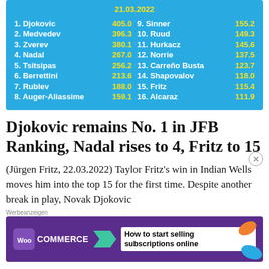| Rank | Name | Score |
| --- | --- | --- |
| 1. | Djokovic | 405.0 |
| 2. | Medvedev | 396.3 |
| 3. | Zverev | 380.1 |
| 4. | Nadal | 267.0 |
| 5. | Tsitsipas | 256.2 |
| 6. | Berrettini | 213.6 |
| 7. | Rublev | 188.0 |
| 8. | Auger-Aliassime | 159.1 |
| 9. | Sinner | 155.2 |
| 10. | Ruud | 149.3 |
| 11. | Hurkacz | 145.6 |
| 12. | Norrie | 137.5 |
| 13. | Carreño Busta | 123.7 |
| 14. | Shapovalov | 118.0 |
| 15. | Fritz | 115.4 |
| 16. | Alcaraz | 111.9 |
Djokovic remains No. 1 in JFB Ranking, Nadal rises to 4, Fritz to 15
(Jürgen Fritz, 22.03.2022) Taylor Fritz's win in Indian Wells moves him into the top 15 for the first time. Despite another break in play, Novak Djokovic
[Figure (other): WooCommerce advertisement banner: purple background with WooCommerce logo and arrow, text reading 'How to start selling subscriptions online', with orange and blue leaf decorations]